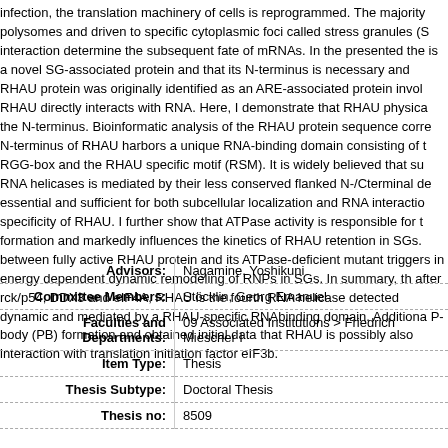infection, the translation machinery of cells is reprogrammed. The majority polysomes and driven to specific cytoplasmic foci called stress granules (S interaction determine the subsequent fate of mRNAs. In the presented the is a novel SG-associated protein and that its N-terminus is necessary and RHAU protein was originally identified as an ARE-associated protein invol RHAU directly interacts with RNA. Here, I demonstrate that RHAU physica the N-terminus. Bioinformatic analysis of the RHAU protein sequence corre N-terminus of RHAU harbors a unique RNA-binding domain consisting of t RGG-box and the RHAU specific motif (RSM). It is widely believed that su RNA helicases is mediated by their less conserved flanked N-/Cterminal de essential and sufficient for both subcellular localization and RNA interactio specificity of RHAU. I further show that ATPase activity is responsible for t formation and markedly influences the kinetics of RHAU retention in SGs. between fully active RHAU protein and its ATPase-deficient mutant triggers in energy dependent dynamic remodeling of RNPs in SGs. In summary, th after rck/p54, DDX3 and eIF4A, RHAU is the fourth RNA helicase detected dynamic and mediated by a RHAU-specific RNAbinding domain. Additiona P-body (PB) formation and obtained initial data that RHAU is possibly also interaction with translation initiation factor eIF3b.
| Label | Value |
| --- | --- |
| Advisors: | Nagamine, Yoshikuni |
| Committee Members: | Stöcklin, Georg Emanuel |
| Faculties and Departments: | 09 Associated Institutions > Friedrich Miescher I |
| Item Type: | Thesis |
| Thesis Subtype: | Doctoral Thesis |
| Thesis no: | 8509 |